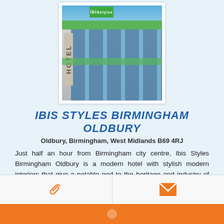[Figure (photo): Exterior photo of Ibis Styles Birmingham Oldbury hotel building with glass facade, green branding stripe, and blue sky]
IBIS STYLES BIRMINGHAM OLDBURY
Oldbury, Birmingham, West Midlands B69 4RJ
Just half an hour from Birmingham city centre, Ibis Styles Birmingham Oldbury is a modern hotel with stylish modern interiors that give a notable nod to the heritage and industry of the Black Country....
Distance: 2.86 Miles
Max: 300 guests